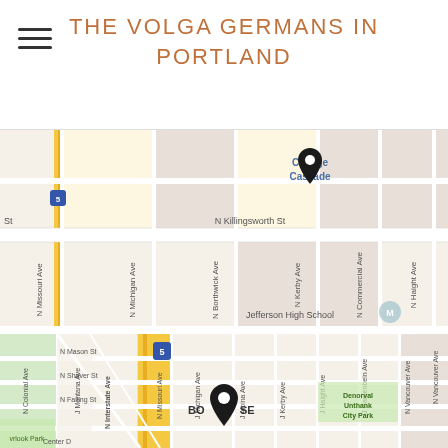THE VOLGA GERMANS IN PORTLAND
[Figure (map): Google Maps view of North Portland near Jefferson High School and College Cascade, showing N Killingsworth St, N Missouri Ave, N Michigan Ave, N Borthwick Ave, N Kerby Ave, N Commercial Ave, N Haight Ave, with a map pin marker near College Cascade]
[Figure (map): Google Maps view of North Portland showing N Mason St, N Failing St, N Shaver St, N Interstate Ave, N Missouri Ave, N Michigan Ave, N Albina Ave, N Kerby Ave, N Haight Ave, N Gantenbein Ave, N Vancouver Ave, Denorval Unthank City Park, Overlook Park, with a map pin marker near Boise neighborhood]